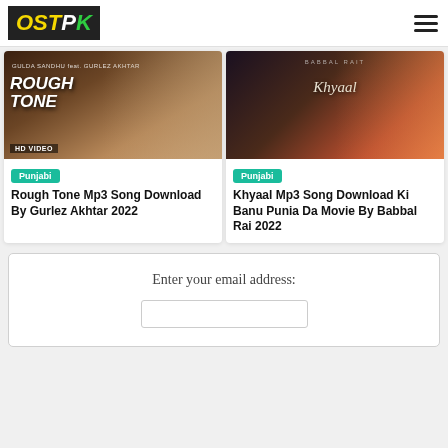OSTPK
[Figure (photo): Rough Tone song cover art showing two people, text 'ROUGH TONE' and 'HD VIDEO']
Punjabi
Rough Tone Mp3 Song Download By Gurlez Akhtar 2022
[Figure (photo): Khyaal song cover art showing a man against sunset, with cursive text 'Khyaal']
Punjabi
Khyaal Mp3 Song Download Ki Banu Punia Da Movie By Babbal Rai 2022
Enter your email address: